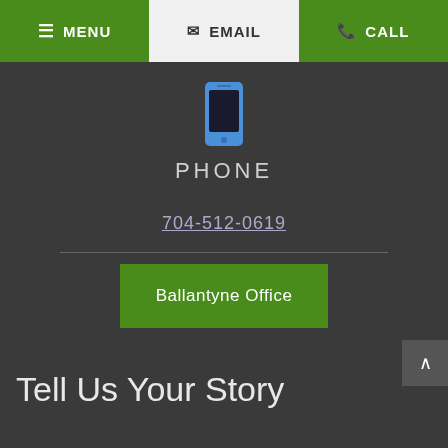MENU | EMAIL | CALL
[Figure (illustration): Blue smartphone/mobile phone icon]
PHONE
704-512-0619
Ballantyne Office
Tell Us Your Story